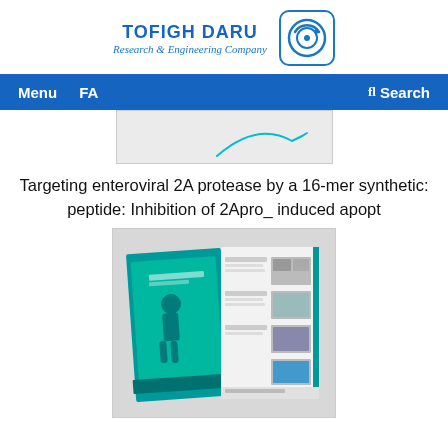TOFIGH DARU Research & Engineering Company
[Figure (logo): Tofigh Daru company logo — circular arrow icon in blue rounded rectangle border]
Menu   FA   fl Search
[Figure (screenshot): Partial screenshot of an article thumbnail image, showing light grey background with a teal line/graph element]
Targeting enteroviral 2A protease by a 16-mer synthetic: peptide: Inhibition of 2Apro_ induced apopt
[Figure (photo): Photo of an open teal and white magazine/journal with a human silhouette on the cover page and article listings on the right page]